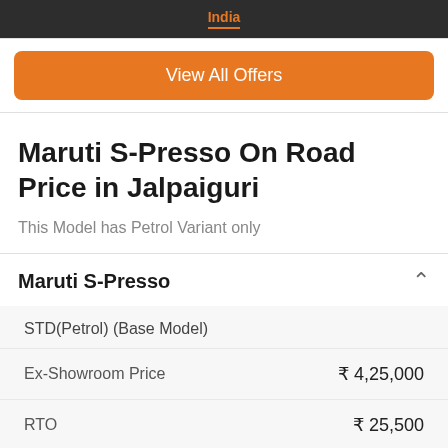India
View All Offers
Maruti S-Presso On Road Price in Jalpaiguri
This Model has Petrol Variant only
Maruti S-Presso
| Item | Price |
| --- | --- |
| STD(Petrol) (Base Model) |  |
| Ex-Showroom Price | ₹ 4,25,000 |
| RTO | ₹ 25,500 |
| Insurance | ₹ 22,373 |